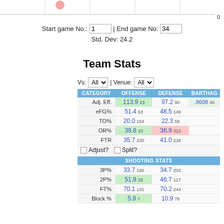Start game No.: 1 | End game No: 34
Std. Dev: 24.2
Team Stats
| CATEGORY | OFFENSE | DEFENSE | BARTHAG |
| --- | --- | --- | --- |
| Adj. Eff. | 113.9  23 | 97.2  90 | .8608  46 |
| eFG% | 51.4  63 | 48.5  149 |  |
| TO% | 20.0  154 | 22.3  58 |  |
| OR% | 39.8  10 | 36.9  313 |  |
| FTR | 35.7  220 | 41.0  239 |  |
| 3P% | 33.7  190 | 34.7  203 |  |
| 2P% | 51.9  33 | 46.7  127 |  |
| FT% | 70.1  131 | 70.2  244 |  |
| Block % | 5.9  7 | 10.9  78 |  |